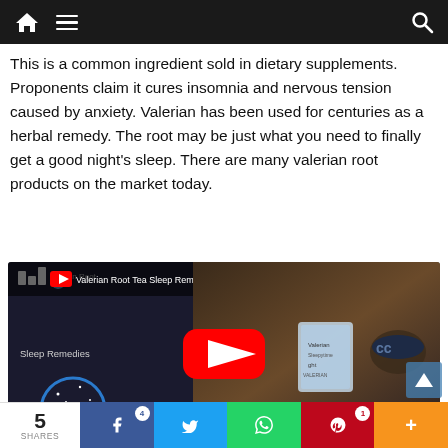Navigation bar with home, menu, and search icons
This is a common ingredient sold in dietary supplements. Proponents claim it cures insomnia and nervous tension caused by anxiety. Valerian has been used for centuries as a herbal remedy. The root may be just what you need to finally get a good night’s sleep. There are many valerian root products on the market today.
[Figure (screenshot): YouTube video thumbnail for 'Valerian Root Tea Sleep Reme...' showing a YouTube player with a dark left panel featuring the Sleep Remedies channel logo and a moon/cityscape graphic, and the right panel showing a sleeping person with a sleep mask and a tea box, with a red YouTube play button overlay.]
5 SHARES | Facebook share | 4 | Twitter share | WhatsApp share | Pinterest share | 1 | More +